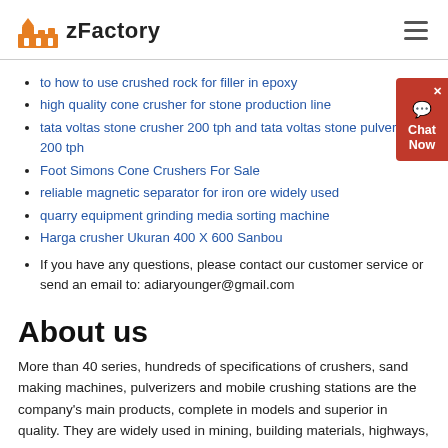zFactory
to how to use crushed rock for filler in epoxy
high quality cone crusher for stone production line
tata voltas stone crusher 200 tph and tata voltas stone pulverizer 200 tph
Foot Simons Cone Crushers For Sale
reliable magnetic separator for iron ore widely used
quarry equipment grinding media sorting machine
Harga crusher Ukuran 400 X 600 Sanbou
If you have any questions, please contact our customer service or send an email to: adiaryounger@gmail.com
About us
More than 40 series, hundreds of specifications of crushers, sand making machines, pulverizers and mobile crushing stations are the company's main products, complete in models and superior in quality. They are widely used in mining, building materials, highways,